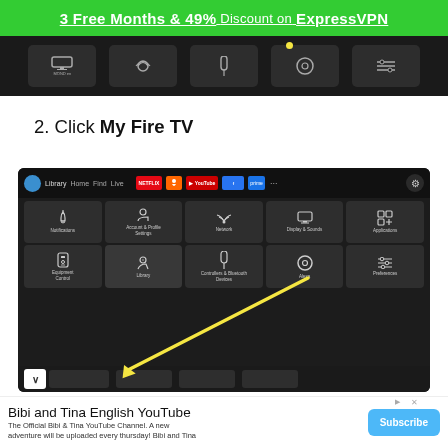3 Free Months & 49% Discount on ExpressVPN
[Figure (screenshot): Fire TV settings menu top bar with icons: display, wireless, remote, Alexa, preferences]
2. Click My Fire TV
[Figure (screenshot): Amazon Fire TV settings screen showing grid of options: Notifications, Account & Profile Settings, Network, Display & Sounds, Applications, Equipment Control, Library (highlighted with yellow arrow), Controllers & Bluetooth Devices, Alexa, Preferences. Navigation bar at top with Library, Home, Find, Live tabs and streaming service icons.]
Bibi and Tina English YouTube
The Official Bibi & Tina YouTube Channel. A new adventure will be uploaded every thursday! Bibi and Tina